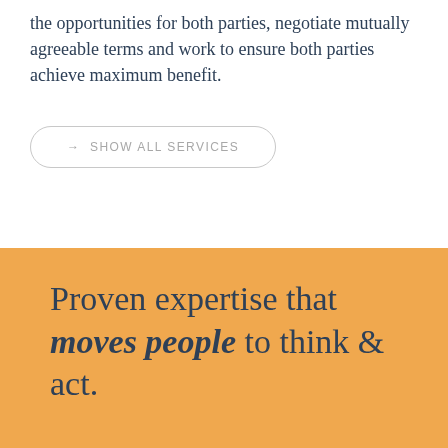the opportunities for both parties, negotiate mutually agreeable terms and work to ensure both parties achieve maximum benefit.
→ SHOW ALL SERVICES
Proven expertise that moves people to think & act.